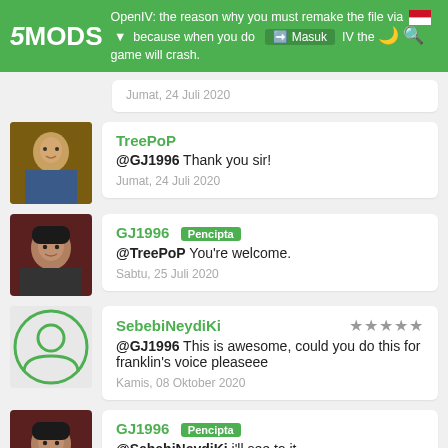5MODS - OpenIV: the reason why you must remake the file via OpenIV the game will crash. Masuk
OpenIV: the reason why you must remake the file via OpenIV because when you do GTA IV the game will crash.
Jumat, 24 Juli 2020
TreePoP
@GJ1996 Thank you sir!
Jumat, 24 Juli 2020
GJ1996 Pencipta
@TreePoP You're welcome.
Sabtu, 25 Juli 2020
SebebiNeydiKi ★★★★★
@GJ1996 This is awesome, could you do this for franklin's voice pleaseee
Kamis, 08 Oktober 2020
GJ1996 Pencipta
@SebebiNeydiKi i'll see to it